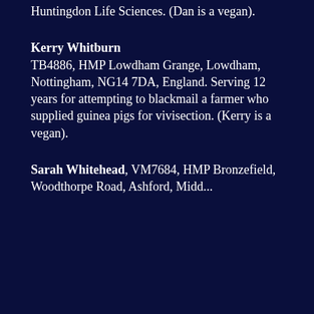Huntingdon Life Sciences. (Dan is a vegan).
Kerry Whitburn TB4886, HMP Lowdham Grange, Lowdham, Nottingham, NG14 7DA, England. Serving 12 years for attempting to blackmail a farmer who supplied guinea pigs for vivisection. (Kerry is a vegan).
Sarah Whitehead, VM7684, HMP Bronzefield, Woodthorpe Road, Ashford, Middl...